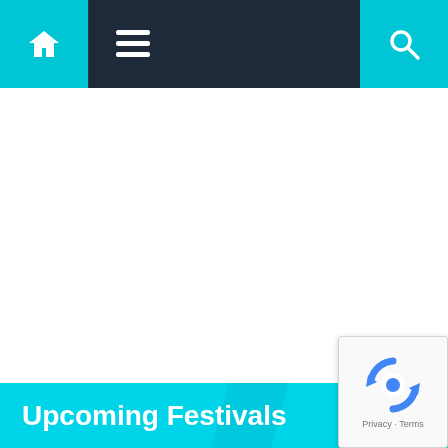Navigation bar with home icon, menu icon, and search icon
Upcoming Festivals
[Figure (screenshot): reCAPTCHA widget showing circular arrows logo with Privacy and Terms text]